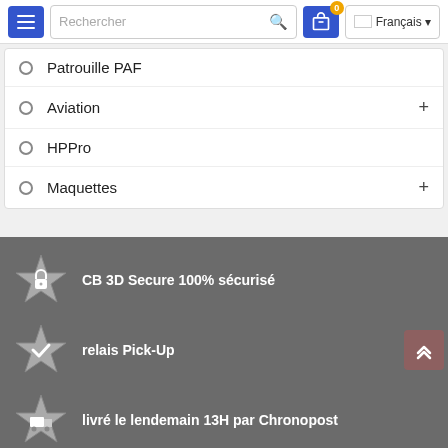[Figure (screenshot): Website navigation bar with hamburger menu button, search field with placeholder 'Rechercher', shopping cart icon with badge '0', and language selector showing 'Français']
Patrouille PAF
Aviation +
HPPro
Maquettes +
CB 3D Secure 100% sécurisé
relais Pick-Up
livré le lendemain 13H par Chronopost